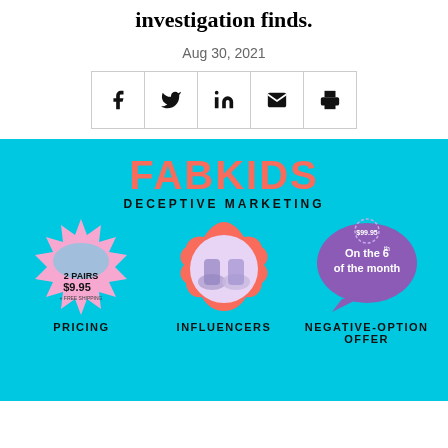investigation finds.
Aug 30, 2021
[Figure (infographic): Social share bar with Facebook, Twitter, LinkedIn, email, and print icons]
[Figure (infographic): FabKids Deceptive Marketing infographic on cyan background. Three sections: Pricing (pink starburst with 2 pairs $9.95), Influencers (image of child's feet with colorful shoes), Negative-Option Offer (purple speech bubble saying 'On the 6th of the month' with $99.95 badge).]